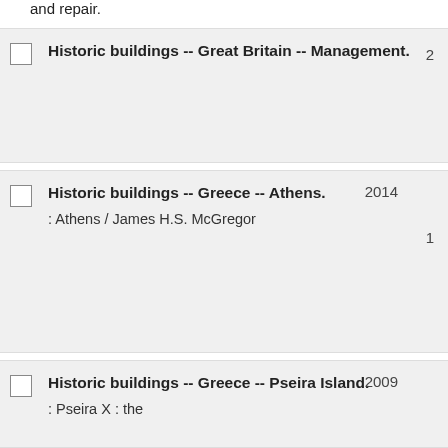and repair.
Historic buildings -- Great Britain -- Management.
Historic buildings -- Greece -- Athens.
Historic buildings -- Greece -- Pseira Island.